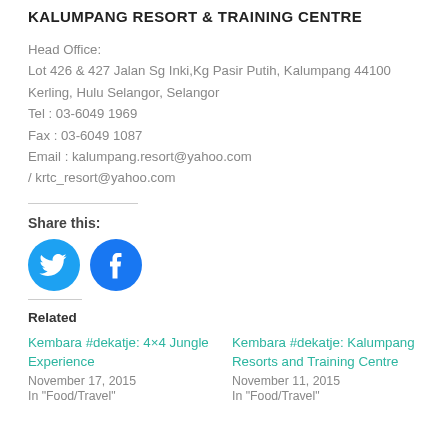KALUMPANG RESORT & TRAINING CENTRE
Head Office:
Lot 426 & 427 Jalan Sg Inki,Kg Pasir Putih, Kalumpang 44100
Kerling, Hulu Selangor, Selangor
Tel : 03-6049 1969
Fax : 03-6049 1087
Email : kalumpang.resort@yahoo.com
/ krtc_resort@yahoo.com
Share this:
[Figure (infographic): Twitter and Facebook circular social share buttons in blue]
Related
Kembara #dekatje: 4×4 Jungle Experience
November 17, 2015
In "Food/Travel"
Kembara #dekatje: Kalumpang Resorts and Training Centre
November 11, 2015
In "Food/Travel"